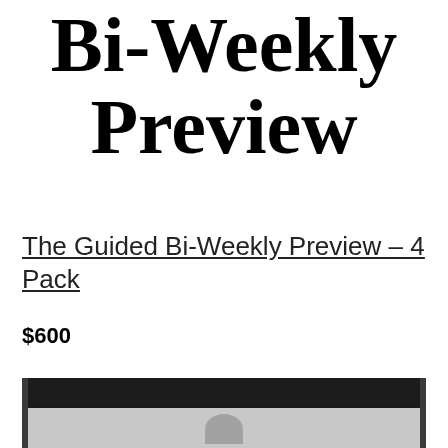Bi-Weekly Preview
The Guided Bi-Weekly Preview – 4 Pack
$600
[Figure (photo): A dark-framed photograph showing a white/light center area, partially visible at the bottom of the page, with a figure silhouette at the bottom center.]